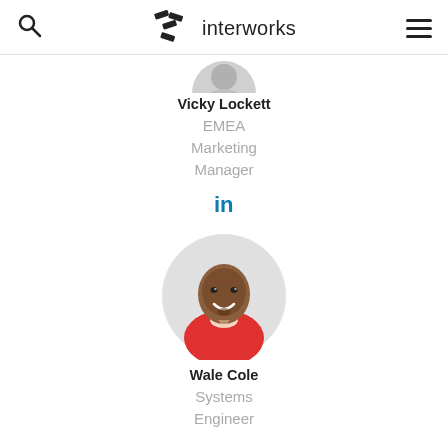interworks
[Figure (photo): Circular profile photo of Vicky Lockett, partially visible at top, with gray background]
Vicky Lockett
EMEA Marketing Manager
[Figure (logo): LinkedIn 'in' icon in blue]
[Figure (photo): Circular profile photo of Wale Cole, a man in a red shirt, smiling, against a light gray background]
Wale Cole
Systems Engineer